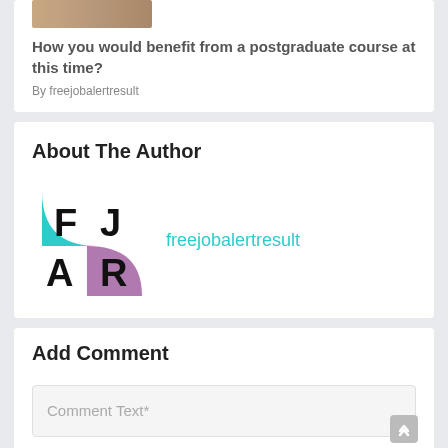[Figure (photo): Partial image of people at top of article card]
How you would benefit from a postgraduate course at this time?
By freejobalertresult
About The Author
[Figure (logo): FJAR logo with teal and purple quadrant design]
freejobalertresult
Add Comment
Comment Text*